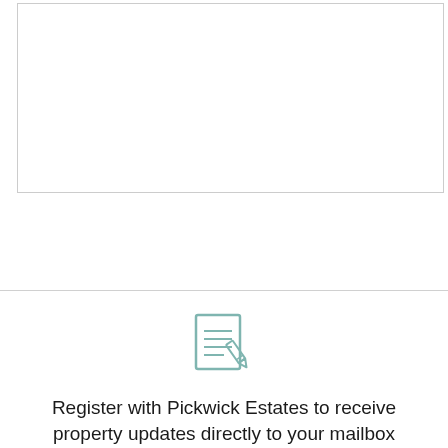[Figure (other): Empty white box with light gray border, partially visible at top of page]
[Figure (illustration): Teal/muted green outline icon of a document/notepad with horizontal lines and a pencil overlapping the bottom-right corner]
Register with Pickwick Estates to receive property updates directly to your mailbox
[Figure (other): Teal/muted green rectangular button labeled 'Register']